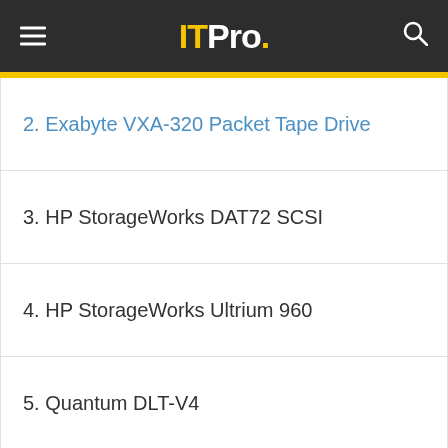IT Pro.
2. Exabyte VXA-320 Packet Tape Drive
3. HP StorageWorks DAT72 SCSI
4. HP StorageWorks Ultrium 960
5. Quantum DLT-V4
See more
★★★☆☆
PRICE £749
+ Good combination of value and performance, unique packet technology improves reliability